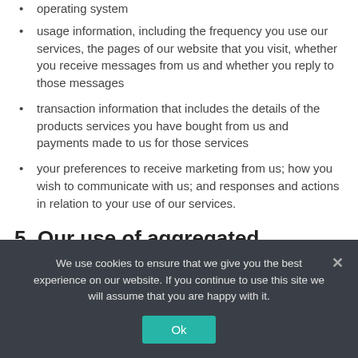operating system
usage information, including the frequency you use our services, the pages of our website that you visit, whether you receive messages from us and whether you reply to those messages
transaction information that includes the details of the products services you have bought from us and payments made to us for those services
your preferences to receive marketing from us; how you wish to communicate with us; and responses and actions in relation to your use of our services.
5. Our use of aggregated information
We use cookies to ensure that we give you the best experience on our website. If you continue to use this site we will assume that you are happy with it.